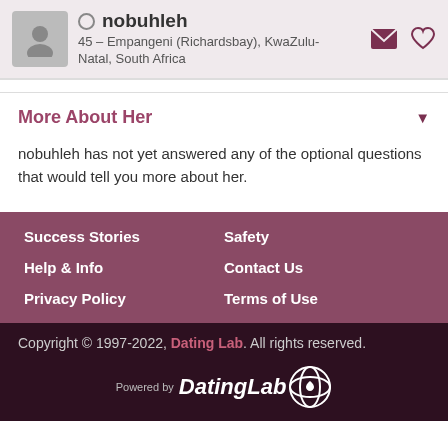nobuhleh – 45 – Empangeni (Richardsbay), KwaZulu-Natal, South Africa
More About Her
nobuhleh has not yet answered any of the optional questions that would tell you more about her.
Success Stories
Safety
Help & Info
Contact Us
Privacy Policy
Terms of Use
Copyright © 1997-2022, Dating Lab. All rights reserved. Powered by DatingLab